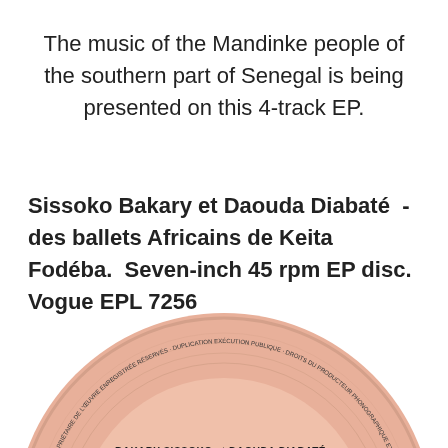The music of the Mandinke people of the southern part of Senegal is being presented on this 4-track EP.
Sissoko Bakary et Daouda Diabaté -des ballets Africains de Keita Fodéba. Seven-inch 45 rpm EP disc. Vogue EPL 7256
[Figure (photo): A photo of a pink/salmon-colored vinyl record label showing: BAKARY SISSOKO et DAOUDA DIABATÉ - DES BALLETS AFRICAINS DE KEITA FODEBA, with track listings: 1. Alalake - Malinké, Guinée 2. Diako. The label is circular with a center hole and has text around the perimeter about phonographic rights.]